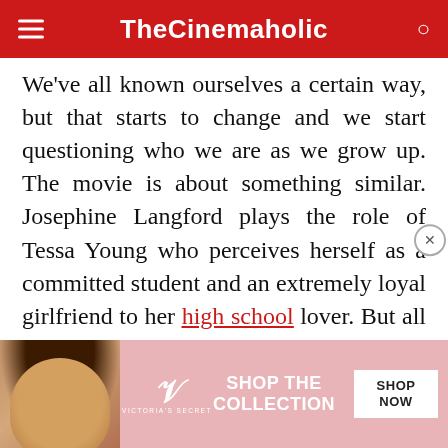TheCinemaholic
We've all known ourselves a certain way, but that starts to change and we start questioning who we are as we grow up. The movie is about something similar. Josephine Langford plays the role of Tessa Young who perceives herself as a committed student and an extremely loyal girlfriend to her high school lover. But all of it starts to change when she meets Hardin Scott. She is drawn to his mysterious yet shady nature. Everything she knew about herself; who she was, what she would become, the dreams she had, the place she saw herself in the future — all of it slowly starts to
[Figure (screenshot): Victoria's Secret advertisement banner with model photo, VS logo, 'SHOP THE COLLECTION' text, and a white 'SHOP NOW' button on a pink background]